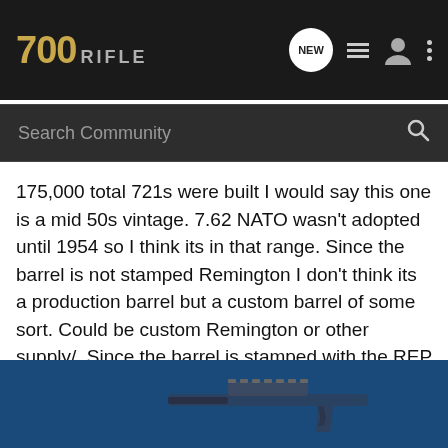700 RIFLE
Search Community
175,000 total 721s were built I would say this one is a mid 50s vintage. 7.62 NATO wasn't adopted until 1954 so I think its in that range. Since the barrel is not stamped Remington I don't think its a production barrel but a custom barrel of some sort. Could be custom Remington or other supply/. Since the barrel is stamped with the REP proof I believe it to be a factory installed barrel. As for the stock I haven't seen a 721 in a long long time so I don't know if its original or not. It would be interesting to see the insetting on the stock to see if it shows and evidence of reworking. I would suggest you go to the Remington Society Site and see if you can find anything out on their forum. Some of those guys got into the factory records in the early 2000's so they may know a little more. If you do please l
[Figure (screenshot): Advertisement overlay at the bottom showing a blue background with a firearm image]